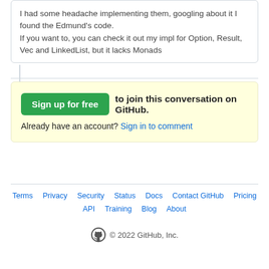I had some headache implementing them, googling about it I found the Edmund's code.
If you want to, you can check it out my impl for Option, Result, Vec and LinkedList, but it lacks Monads
Sign up for free to join this conversation on GitHub.
Already have an account? Sign in to comment
Terms · Privacy · Security · Status · Docs · Contact GitHub · Pricing · API · Training · Blog · About
© 2022 GitHub, Inc.